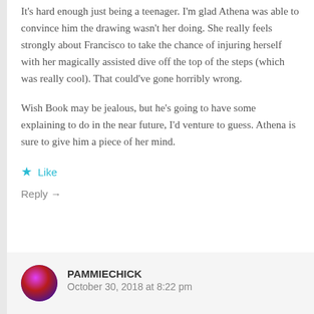It's hard enough just being a teenager. I'm glad Athena was able to convince him the drawing wasn't her doing. She really feels strongly about Francisco to take the chance of injuring herself with her magically assisted dive off the top of the steps (which was really cool). That could've gone horribly wrong.
Wish Book may be jealous, but he's going to have some explaining to do in the near future, I'd venture to guess. Athena is sure to give him a piece of her mind.
★ Like
Reply →
PAMMIECHICK
October 30, 2018 at 8:22 pm